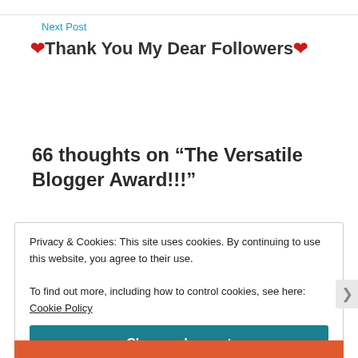Next Post
❤Thank You My Dear Followers❤
66 thoughts on “The Versatile Blogger Award!!!”
Privacy & Cookies: This site uses cookies. By continuing to use this website, you agree to their use.
To find out more, including how to control cookies, see here: Cookie Policy
Close and accept